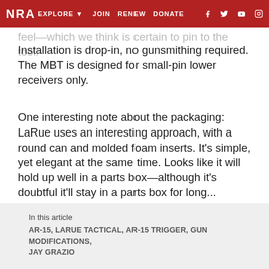NRA EXPLORE ▼   JOIN   RENEW   DONATE   f  𝕏  ▶  Instagram
feel—which we think is certain to pin to the tool. Installation is drop-in, no gunsmithing required. The MBT is designed for small-pin lower receivers only.
One interesting note about the packaging: LaRue uses an interesting approach, with a round can and molded foam inserts. It's simple, yet elegant at the same time. Looks like it will hold up well in a parts box—although it's doubtful it'll stay in a parts box for long...
MSRP: $199
In this article
AR-15, LARUE TACTICAL, AR-15 TRIGGER, GUN MODIFICATIONS, JAY GRAZIO